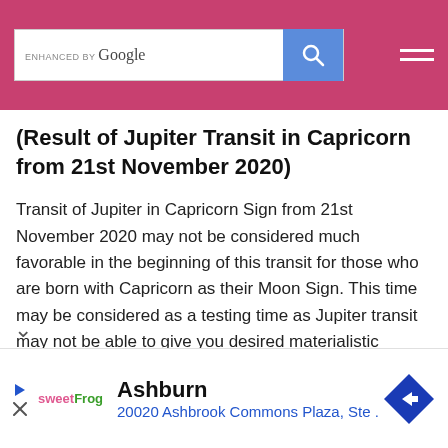[Figure (screenshot): Website header bar in pink/red with Google search box and hamburger menu icon]
(Result of Jupiter Transit in Capricorn from 21st November 2020)
Transit of Jupiter in Capricorn Sign from 21st November 2020 may not be considered much favorable in the beginning of this transit for those who are born with Capricorn as their Moon Sign. This time may be considered as a testing time as Jupiter transit may not be able to give you desired materialistic possession during this period. There is also possibility that you may face problems in the matters related to property. Unnecessary (text continues below)
[Figure (screenshot): Advertisement bar showing sweetFrog logo, Ashburn location, address 20020 Ashbrook Commons Plaza Ste., and a blue diamond-shaped navigation icon]